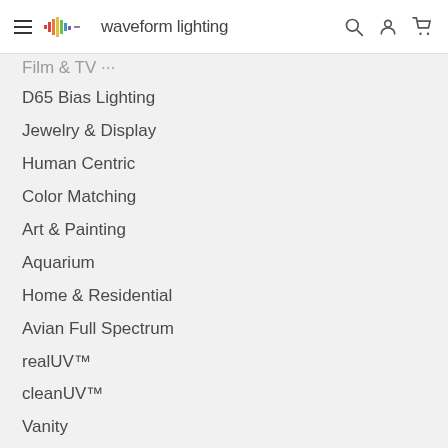waveform lighting
Film & TV (truncated/partial)
D65 Bias Lighting
Jewelry & Display
Human Centric
Color Matching
Art & Painting
Aquarium
Home & Residential
Avian Full Spectrum
realUV™
cleanUV™
Vanity
PCB Designs
OUR TECHNOLOGIES
Learn About LED Strips
Learn About LED Tube Lights (partial)